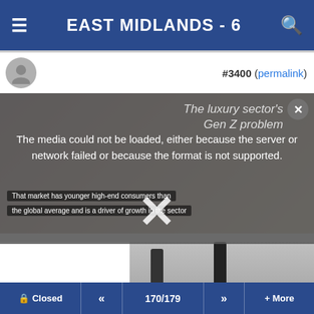EAST MIDLANDS - 6
#3400 (permalink)
[Figure (screenshot): Media error overlay showing: 'The media could not be loaded, either because the server or network failed or because the format is not supported.' with a close button and caption text overlaid on a background. Also shows text 'The luxury sector's Gen Z problem'. Below is a fashion/runway image showing two figures walking.]
Join a Facebook Group
Join Groups, express interests, connect with friends globally on Facebook.
Closed  <<  170/179  >>  + More